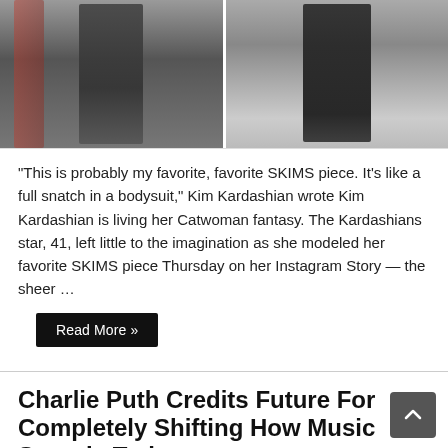[Figure (photo): Two side-by-side photos of Kim Kardashian modeling SKIMS bodysuits in a closet setting. Left photo shows her in a dark fitted bodysuit. Right photo shows her in a black outfit with a coat.]
“This is probably my favorite, favorite SKIMS piece. It’s like a full snatch in a bodysuit,” Kim Kardashian wrote Kim Kardashian is living her Catwoman fantasy. The Kardashians star, 41, left little to the imagination as she modeled her favorite SKIMS piece Thursday on her Instagram Story — the sheer …
Read More »
Charlie Puth Credits Future For Completely Shifting How Music Sounds Today
ENTERTAINMENT   Comments Off